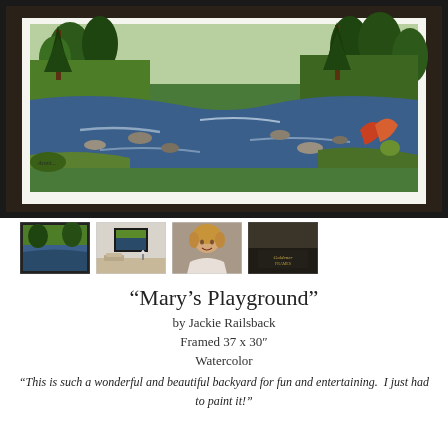[Figure (photo): A framed watercolor painting showing a scenic river or stream with rocks, surrounded by pine trees and lush green forest. The painting is framed in a dark black frame with white matting.]
[Figure (photo): Four thumbnail images: 1) close-up detail of the painting, 2) painting displayed on a wall in a room setting, 3) portrait photo of the artist Jackie Railsback, 4) close-up of the frame corner showing brand details.]
“Mary’s Playground”
by Jackie Railsback
Framed 37 x 30”
Watercolor
“This is such a wonderful and beautiful backyard for fun and entertaining.  I just had to paint it!”